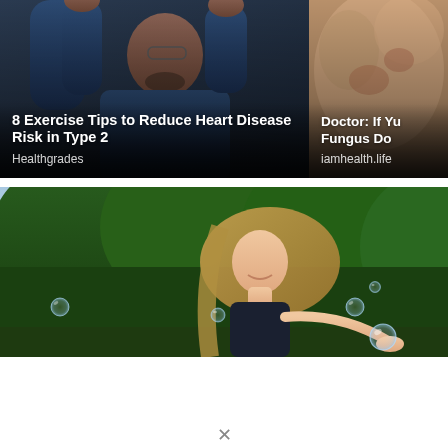[Figure (photo): An older Black man with glasses stretching his arms overhead, wearing a dark blue shirt, exercise/fitness context]
8 Exercise Tips to Reduce Heart Disease Risk in Type 2
Healthgrades
[Figure (photo): Close-up of skin with fungal infection or skin condition]
Doctor: If Yu Fungus Do
iamhealth.life
[Figure (photo): Young woman with long blonde hair smiling, playing with soap bubbles outdoors with green trees in background]